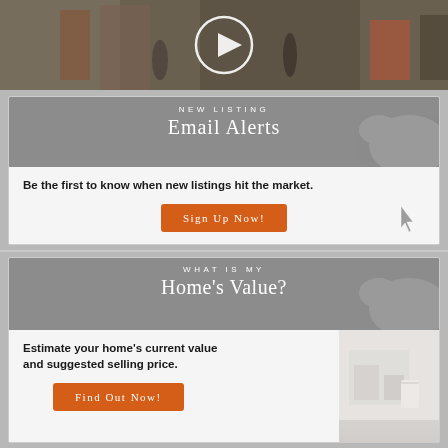[Figure (photo): Street scene photo with play button overlay, showing people walking on a sidewalk with buildings and outdoor furniture]
NEW LISTING
Email Alerts
Be the first to know when new listings hit the market.
Sign Up Now!
WHAT IS MY
Home's Value?
Estimate your home's current value and suggested selling price.
Find Out Now!